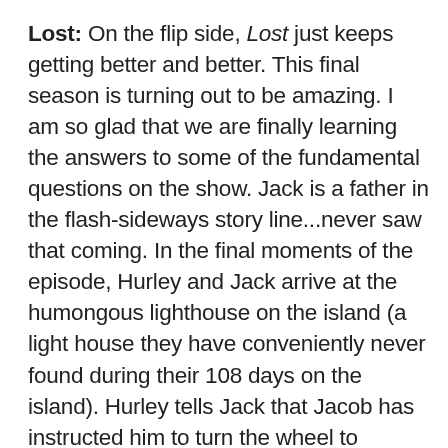Lost: On the flip side, Lost just keeps getting better and better. This final season is turning out to be amazing. I am so glad that we are finally learning the answers to some of the fundamental questions on the show. Jack is a father in the flash-sideways story line...never saw that coming. In the final moments of the episode, Hurley and Jack arrive at the humongous lighthouse on the island (a light house they have conveniently never found during their 108 days on the island). Hurley tells Jack that Jacob has instructed him to turn the wheel to bearing 108 to help direct someone to the island. 108 has a name next to it on the wheel, Wallace. Okay, Damon/Carlton & Co., who the hell is Wallace?! I sincerely hope it's not a random character being added to the show in the final episodes. It is becoming glaringly